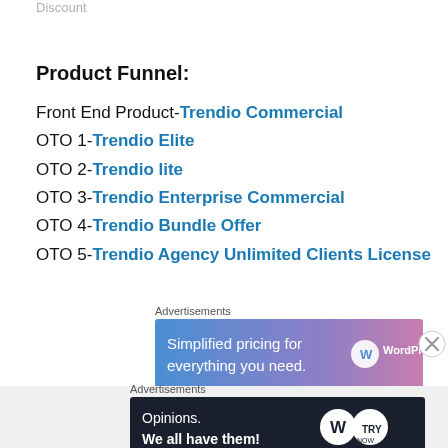Discount
Product Funnel:
Front End Product-Trendio Commercial
OTO 1-Trendio Elite
OTO 2-Trendio lite
OTO 3-Trendio Enterprise Commercial
OTO 4-Trendio Bundle Offer
OTO 5-Trendio Agency Unlimited Clients License
Advertisements
[Figure (screenshot): WordPress.com advertisement banner: Simplified pricing for everything you need.]
Advertisements
[Figure (screenshot): WordPress.com advertisement banner: Opinions. We all have them!]